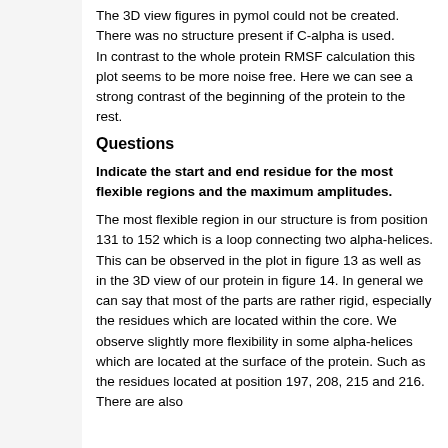The 3D view figures in pymol could not be created. There was no structure present if C-alpha is used.
In contrast to the whole protein RMSF calculation this plot seems to be more noise free. Here we can see a strong contrast of the beginning of the protein to the rest.
Questions
Indicate the start and end residue for the most flexible regions and the maximum amplitudes.
The most flexible region in our structure is from position 131 to 152 which is a loop connecting two alpha-helices. This can be observed in the plot in figure 13 as well as in the 3D view of our protein in figure 14. In general we can say that most of the parts are rather rigid, especially the residues which are located within the core. We observe slightly more flexibility in some alpha-helices which are located at the surface of the protein. Such as the residues located at position 197, 208, 215 and 216. There are also